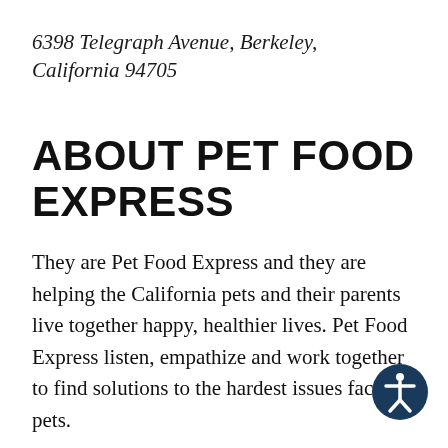6398 Telegraph Avenue, Berkeley, California 94705
ABOUT PET FOOD EXPRESS
They are Pet Food Express and they are helping the California pets and their parents live together happy, healthier lives. Pet Food Express listen, empathize and work together to find solutions to the hardest issues facing pets.
Their strategy is simple: They sell only